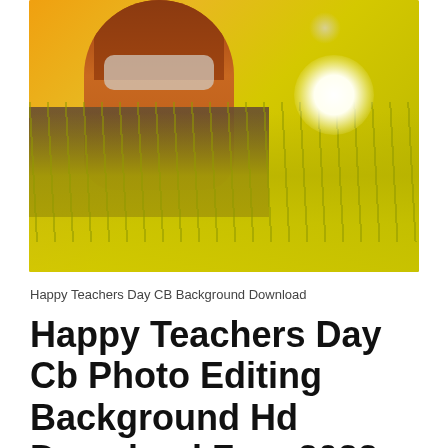[Figure (photo): A person wearing an orange outfit with a mask, standing in a field of bright yellow flowers with a stone wall behind them and bokeh lights in the background.]
Happy Teachers Day CB Background Download
Happy Teachers Day Cb Photo Editing Background Hd Download Free 2022-2023